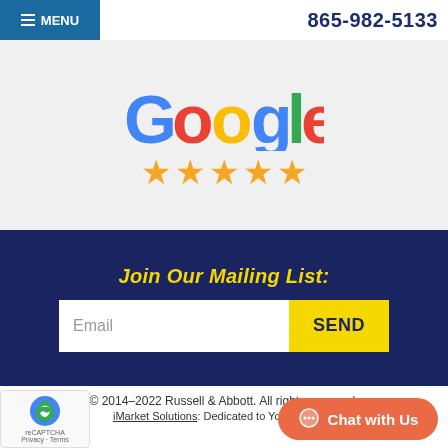MENU | 865-982-5133
[Figure (logo): Google logo with five gold stars rating below it]
Join Our Mailing List:
Email | SEND
© 2014–2022 Russell & Abbott. All rights reserved.
iMarket Solutions: Dedicated to Your Success
[Figure (other): reCAPTCHA badge with Privacy and Terms links]
[Figure (other): Orange chat bubble button with text: Chat with Us]